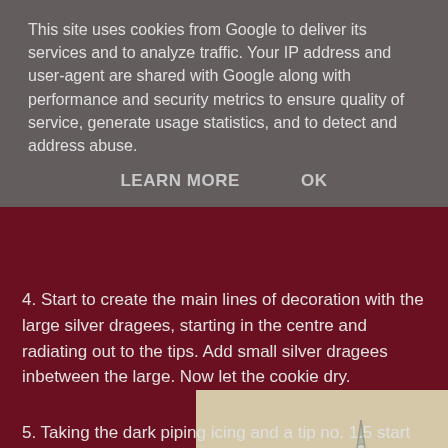This site uses cookies from Google to deliver its services and to analyze traffic. Your IP address and user-agent are shared with Google along with performance and security metrics to ensure quality of service, generate usage statistics, and to detect and address abuse.
LEARN MORE    OK
[Figure (photo): Two starfish-shaped decorated sugar cookies side by side. Left cookie has silver dragees in dotted lines radiating from center. Right cookie has dark piping outlines and silver dragees.]
4. Start to create the main lines of decoration with the large silver dragees, starting in the centre and radiating out to the tips. Add small silver dragees inbetween the large. Now let the cookie dry.
5.  Taking the dark piping icing and a tip no. 1.5 start to add a